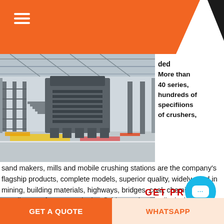[Figure (photo): Industrial crusher/mill machinery inside a large factory hall with metal scaffolding, support columns, and a concrete floor. Colorful safety markings on the floor.]
More than 40 series, hundreds of specifiions of crushers, sand makers, mills and mobile crushing stations are the company's flagship products, complete models, superior quality, widely used in mining, building materials, highways, bridges, coal, chemicals, Metallurgy, refractory and other fields. Product quality is the lifeline of the company.
[Figure (photo): Industrial facility interior showing overhead cranes and manufacturing equipment.]
mobile crusher
GET PR
GET A QUOTE
WHATSAPP